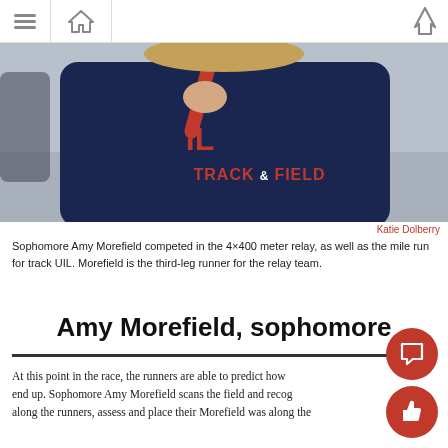Navigation bar with menu, home, and up icons
[Figure (photo): Close-up of a person wearing a navy blue hoodie that reads 'TRACK AND FIELD' with the letters 'IL', holding a red relay baton up near their face. Background is blurred outdoor pavement.]
Katie Dolberry
Sophomore Amy Morefield competed in the 4×400 meter relay, as well as the mile run for track UIL. Morefield is the third-leg runner for the relay team.
Amy Morefield, sophomore
At this point in the race, the runners are able to predict how end up. Sophomore Amy Morefield scans the field and recog along the runners, assess and place their Morefield was along the